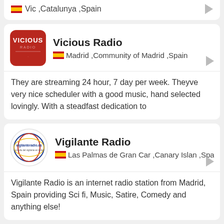Vic ,Catalunya ,Spain (partial card, top)
Vicious Radio — Madrid ,Community of Madrid ,Spain — They are streaming 24 hour, 7 day per week. Theyve very nice scheduler with a good music, hand selected lovingly. With a steadfast dedication to
Vigilante Radio — Las Palmas de Gran Car ,Canary Islan ,Spain — Vigilante Radio is an internet radio station from Madrid, Spain providing Sci fi, Music, Satire, Comedy and anything else!
Villaverde FM (VFM) — Villaverde del Río ,Andalusia ,Spain